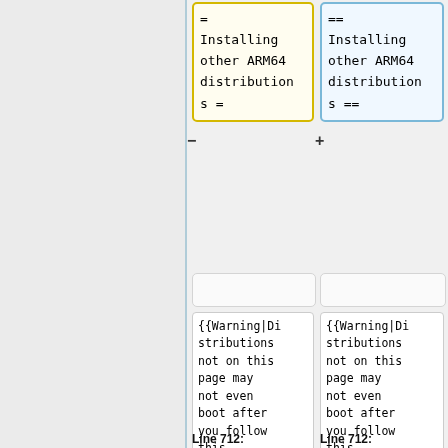[Figure (screenshot): Diff view showing two columns. Left column (yellow border) shows wiki markup with '= Installing other ARM64 distributions =' with a minus sign indicator. Right column (blue border) shows '== Installing other ARM64 distributions ==' with a plus sign indicator. Below each header box are empty boxes, then code boxes with '{{Warning|Distributions not on this list page may not even boot after you follow this section. In the best case, they will be barely usable.' text in both columns. At bottom: 'Line 712:' labels in bold under each column.]